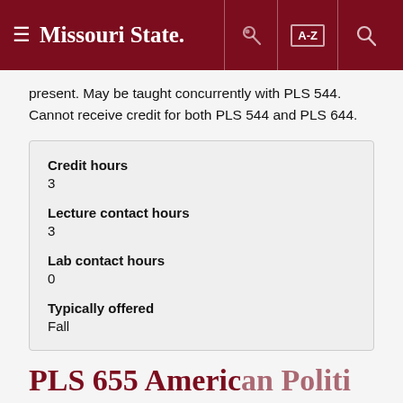Missouri State
present. May be taught concurrently with PLS 544. Cannot receive credit for both PLS 544 and PLS 644.
| Credit hours | 3 |
| Lecture contact hours | 3 |
| Lab contact hours | 0 |
| Typically offered | Fall |
PLS 655 American Politics